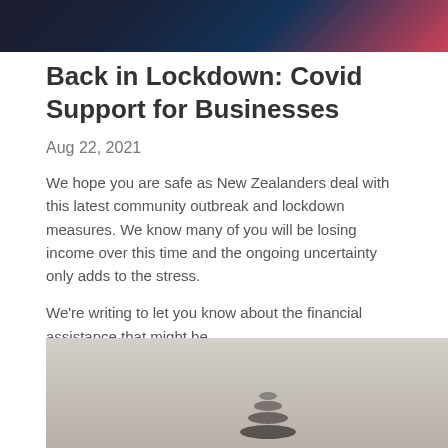[Figure (photo): Dark cityscape/urban background image at top of page]
Back in Lockdown: Covid Support for Businesses
Aug 22, 2021
We hope you are safe as New Zealanders deal with this latest community outbreak and lockdown measures. We know many of you will be losing income over this time and the ongoing uncertainty only adds to the stress.
We're writing to let you know about the financial assistance that might be...
Continue Reading...
[Figure (photo): Stacked stones / balanced rocks on light grey background — mindfulness or wellbeing imagery]